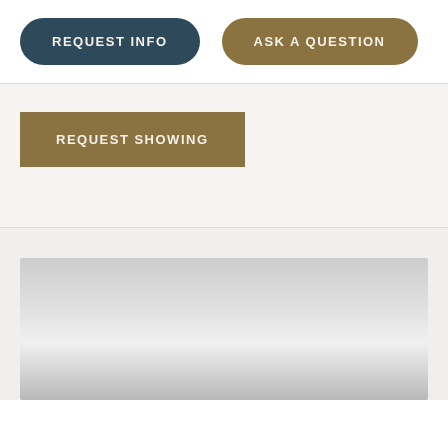REQUEST INFO
ASK A QUESTION
REQUEST SHOWING
[Figure (other): Map or property image area, gray gradient placeholder]